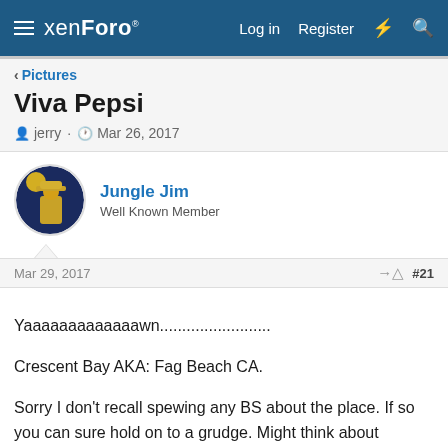xenForo | Log in | Register
< Pictures
Viva Pepsi
jerry · Mar 26, 2017
Jungle Jim
Well Known Member
Mar 29, 2017   #21
Yaaaaaaaaaaaaawn.........................

Crescent Bay AKA: Fag Beach CA.

Sorry I don't recall spewing any BS about the place. If so you can sure hold on to a grudge. Might think about moving on?

Your "Beaded Lizard" was most likely a release by a pet owner. I've collected many of them, mostly in the area around Navajoa